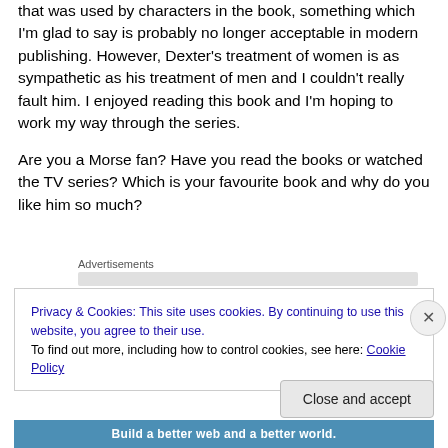that was used by characters in the book, something which I'm glad to say is probably no longer acceptable in modern publishing. However, Dexter's treatment of women is as sympathetic as his treatment of men and I couldn't really fault him. I enjoyed reading this book and I'm hoping to work my way through the series.
Are you a Morse fan? Have you read the books or watched the TV series? Which is your favourite book and why do you like him so much?
Advertisements
Privacy & Cookies: This site uses cookies. By continuing to use this website, you agree to their use.
To find out more, including how to control cookies, see here: Cookie Policy
Close and accept
Build a better web and a better world.